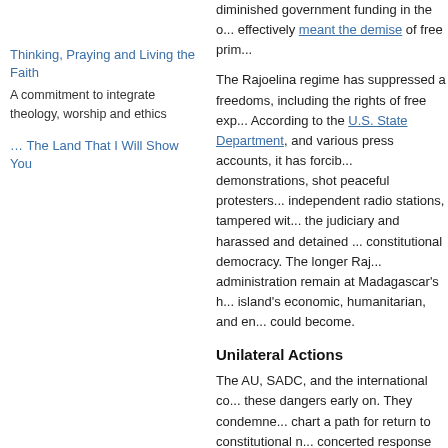Thinking, Praying and Living the Faith
A commitment to integrate theology, worship and ethics
… The Land That I Will Show You
diminished government funding in the ... effectively meant the demise of free prim...
The Rajoelina regime has suppressed a freedoms, including the rights of free exp... According to the U.S. State Department, and various press accounts, it has forcib... demonstrations, shot peaceful protesters... independent radio stations, tampered wit... the judiciary and harassed and detained ... constitutional democracy. The longer Raj... administration remain at Madagascar's h... island's economic, humanitarian, and en... could become.
Unilateral Actions
The AU, SADC, and the international co... these dangers early on. They condemne... chart a path for return to constitutional n... concerted response seemed likely to su... SADC negotiators had brought together ... major political factions – represented by ... government, the deposed president, and... state – and had secured agreement in M...